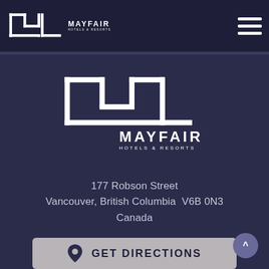[Figure (logo): Mayfair Hotels & Resorts logo in navigation bar — stylized M and Y letterforms with brand name]
[Figure (logo): Mayfair Hotels & Resorts large logo centered on page — stylized M and Y letterforms with brand name]
177 Robson Street
Vancouver, British Columbia  V6B 0N3
Canada
GET DIRECTIONS